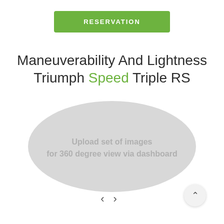RESERVATION
Maneuverability And Lightness Triumph Speed Triple RS
[Figure (illustration): Gray oval placeholder indicating an area to upload a set of images for 360 degree view via dashboard. Navigation arrows (< >) below the oval, and an up-arrow button in the bottom right corner.]